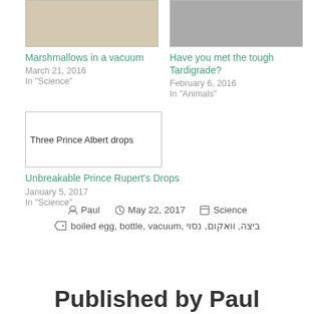[Figure (photo): Photo of marshmallows in a vacuum]
Marshmallows in a vacuum
March 21, 2016
In "Science"
[Figure (photo): Electron microscope image of a Tardigrade]
Have you met the tough Tardigrade?
February 6, 2016
In "Animals"
[Figure (photo): Three Prince Albert drops]
Unbreakable Prince Rupert's Drops
January 5, 2017
In "Science"
Paul  May 22, 2017  Science
boiled egg, bottle, vacuum, ביצה, וואקום, נסוי
Published by Paul